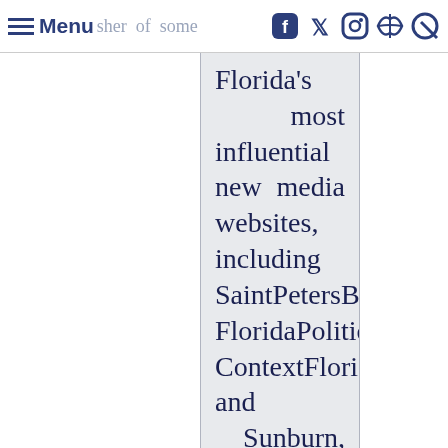Menu | publisher of some [social icons]
Florida's most influential new media websites, including SaintPetersBlog.com, FloridaPolitics.com, ContextFlorida.com, and Sunburn, the morning read of what's hot in Florida politics. SaintPetersBlog has for three years running been ranked by the Washington Post as